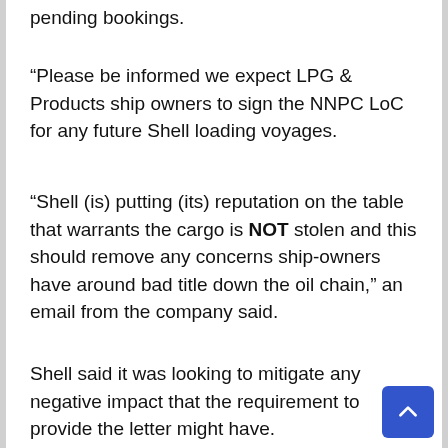pending bookings.
“Please be informed we expect LPG & Products ship owners to sign the NNPC LoC for any future Shell loading voyages.
“Shell (is) putting (its) reputation on the table that warrants the cargo is NOT stolen and this should remove any concerns ship-owners have around bad title down the oil chain,” an email from the company said.
Shell said it was looking to mitigate any negative impact that the requirement to provide the letter might have.
“What we are doing is to ensure that our business is not adversely affected by working